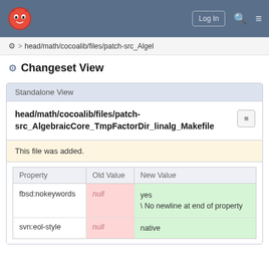Log In
⚙ > head/math/cocoalib/files/patch-src_Algel
⚙ Changeset View
Standalone View
head/math/cocoalib/files/patch-src_AlgebraicCore_TmpFactorDir_linalg_Makefile
This file was added.
| Property | Old Value | New Value |
| --- | --- | --- |
| fbsd:nokeywords | null | yes
\ No newline at end of property |
| svn:eol-style | null | native |